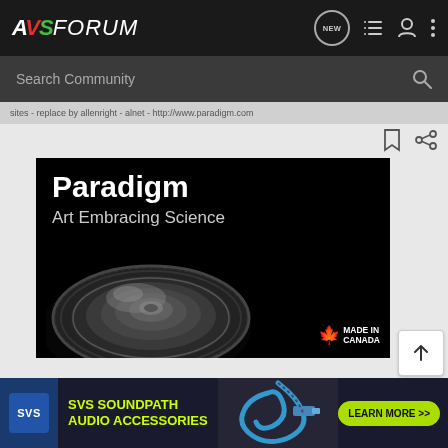AVS FORUM
Search Community
sites - replace by allenright - alnet - http://www.paradigm.com
[Figure (screenshot): Paradigm speaker advertisement banner: black background with large white bold text 'Paradigm' and subtitle 'Art Embracing Science', showing a dark metallic speaker driver disc, with 'Made in Canada' maple leaf logo in the bottom right corner]
[Figure (screenshot): SVS SoundPath Audio Accessories banner advertisement: dark navy background with SVS logo box, yellow-green text 'SVS SOUNDPATH AUDIO ACCESSORIES', photo of optical cable, and green 'LEARN MORE >>' button]